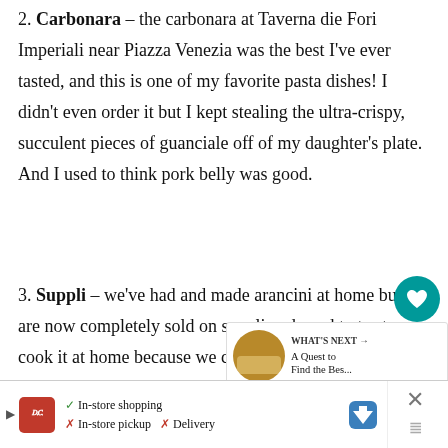2. Carbonara – the carbonara at Taverna die Fori Imperiali near Piazza Venezia was the best I've ever tasted, and this is one of my favorite pasta dishes! I didn't even order it but I kept stealing the ultra-crispy, succulent pieces of guanciale off of my daughter's plate. And I used to think pork belly was good.
3. Suppli – we've had and made arancini at home but we are now completely sold on suppli and need to try to cook it at home because we can't wait to go back to Rome to have it again! Our favorite was from I Suppli in Trastevere on a food tour with Eating Italy.